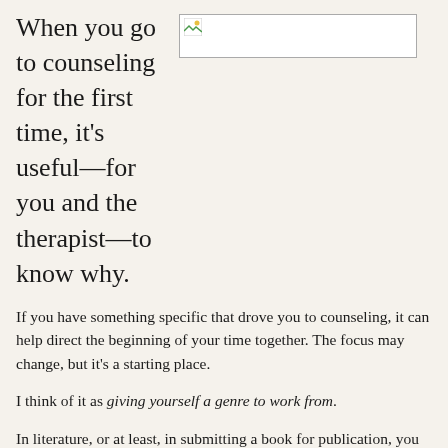When you go to counseling for the first time, it’s useful—for you and the therapist—to know why.
[Figure (photo): Small broken/placeholder image icon in top right area]
If you have something specific that drove you to counseling, it can help direct the beginning of your time together. The focus may change, but it’s a starting place.
I think of it as giving yourself a genre to work from.
In literature, or at least, in submitting a book for publication, you need to get more specific than “Dystopian-Paranormal-Fantasy-Romance with SciFi elements and a Chick Lit feel.” I can already imagine the type of novel that would fit that description, and I think it